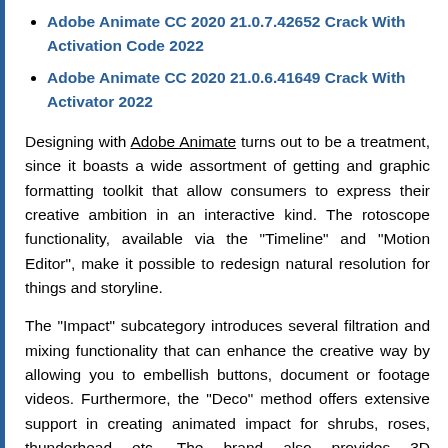Adobe Animate CC 2020 21.0.7.42652 Crack With Activation Code 2022
Adobe Animate CC 2020 21.0.6.41649 Crack With Activator 2022
Designing with Adobe Animate turns out to be a treatment, since it boasts a wide assortment of getting and graphic formatting toolkit that allow consumers to express their creative ambition in an interactive kind. The rotoscope functionality, available via the "Timeline" and "Motion Editor", make it possible to redesign natural resolution for things and storyline.
The "Impact" subcategory introduces several filtration and mixing functionality that can enhance the creative way by allowing you to embellish buttons, document or footage videos. Furthermore, the "Deco" method offers extensive support in creating animated impact for shrubs, roses, thunderhead etc. The brand also provides 3D metamorphosis functionality that can animate 2D things in 3D the through various language and rotation electricity.
With the "Advanced Text Engine" that includes the highly